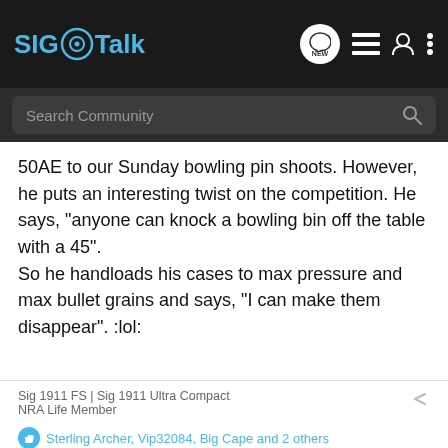SIG Talk
50AE to our Sunday bowling pin shoots. However, he puts an interesting twist on the competition. He says, "anyone can knock a bowling bin off the table with a 45".
So he handloads his cases to max pressure and max bullet grains and says, "I can make them disappear". :lol:
Sig 1911 FS | Sig 1911 Ultra Compact
NRA Life Member
Sterling Archer, Vip32084, Big Cape and 2 others
[Figure (screenshot): Ad banner for Bass Pro Shops Highest-Rated Gear with 4.9 star rating]